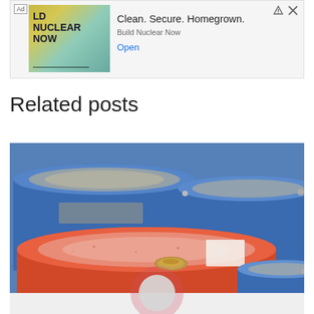[Figure (screenshot): Advertisement banner: 'LD NUCLEAR NOW' with tagline 'Clean. Secure. Homegrown.' and 'Build Nuclear Now' with an 'Open' button. Green/teal background image with bold text.]
Related posts
[Figure (photo): Close-up photograph of multiple industrial storage drums/barrels. Large blue barrels visible in the background and upper portion; a large red/orange barrel in the foreground with a brass ring closure on top. The tops of the drums are visible showing weathered paint and labels.]
[Figure (other): Partial view of a card below the photo showing a circular icon (pink/red ring with light grey center), suggesting a related post thumbnail loading or placeholder.]